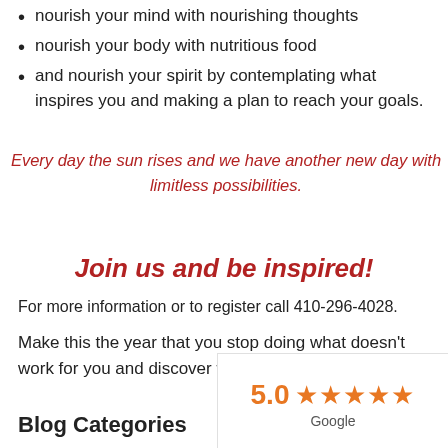nourish your mind with nourishing thoughts
nourish your body with nutritious food
and nourish your spirit by contemplating what inspires you and making a plan to reach your goals.
Every day the sun rises and we have another new day with limitless possibilities.
Join us and be inspired!
For more information or to register call 410-296-4028.
Make this the year that you stop doing what doesn't work for you and discover what does!
Blog Categories
5.0 ★★★★★